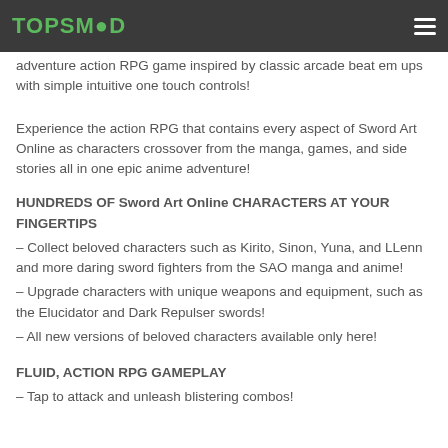TOPSMOD
adventure action RPG game inspired by classic arcade beat em ups with simple intuitive one touch controls!
Experience the action RPG that contains every aspect of Sword Art Online as characters crossover from the manga, games, and side stories all in one epic anime adventure!
HUNDREDS OF Sword Art Online CHARACTERS AT YOUR FINGERTIPS
– Collect beloved characters such as Kirito, Sinon, Yuna, and LLenn and more daring sword fighters from the SAO manga and anime!
– Upgrade characters with unique weapons and equipment, such as the Elucidator and Dark Repulser swords!
– All new versions of beloved characters available only here!
FLUID, ACTION RPG GAMEPLAY
– Tap to attack and unleash blistering combos!